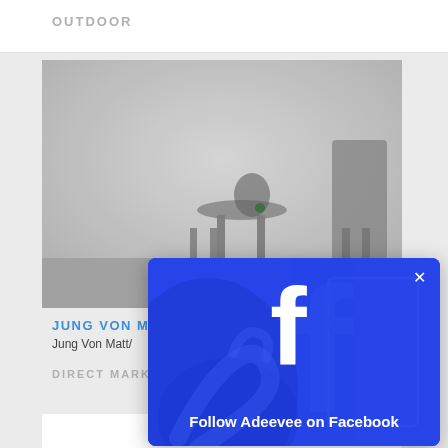OUTDOOR
[Figure (photo): Grayscale photograph of outdoor furniture (chairs/stools) in a blurred minimalist setting]
JUNG VON MA
Jung Von Matt/
DIRECT MARKE
[Figure (screenshot): Facebook follow popup overlay with blue background, Facebook 'f' logo, close X button, and text 'Follow Adeevee on Facebook']